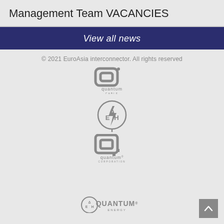Management Team VACANCIES
View all news
© 2021 EuroAsia interconnector. All rights reserved
[Figure (logo): Quantum Cable logo - stylized Q icon with 'quantum CABLE' text in grey]
[Figure (logo): ΔΕΗ logo - circle with lightning bolt and Greek letters ΔΕΗ in grey]
[Figure (logo): Quantum Corporation logo - stylized Q icon with 'quantum CORPORATION' text in grey]
[Figure (logo): ΔΕΗ QUANTUM ENERGY logo - combined ΔΕΗ and QUANTUM ENERGY text in grey]